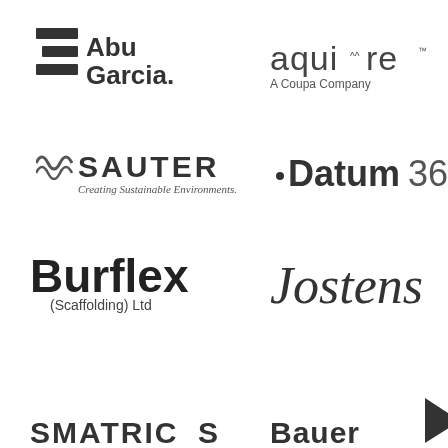[Figure (logo): Abu Garcia logo with stacked bars icon and bold text 'Abu Garcia' with registered trademark]
[Figure (logo): aquiire logo in light weight sans-serif with tagline 'A Coupa Company']
[Figure (logo): SAUTER logo with wave icon and tagline 'Creating Sustainable Environments.']
[Figure (logo): Datum360 logo in bold sans-serif with '360' in light weight]
[Figure (logo): Burflex (Scaffolding) Ltd logo in heavy bold sans-serif]
[Figure (logo): Jostens logo in italic script with registered trademark]
[Figure (logo): SMATRICS logo in bold uppercase sans-serif, partially visible at bottom]
[Figure (logo): Bauer logo in bold sans-serif with arrow graphic, partially visible at bottom]